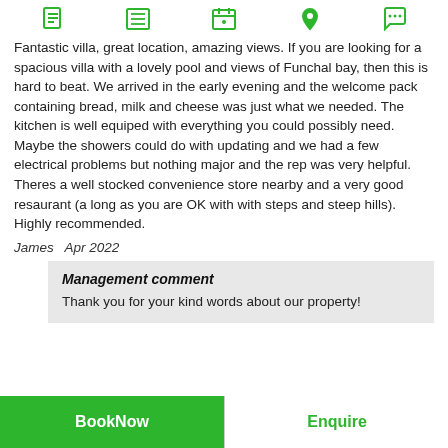[Figure (other): Top navigation bar with 5 green icons: document, list, calendar, map pin, speech bubble]
Fantastic villa, great location, amazing views. If you are looking for a spacious villa with a lovely pool and views of Funchal bay, then this is hard to beat. We arrived in the early evening and the welcome pack containing bread, milk and cheese was just what we needed. The kitchen is well equiped with everything you could possibly need. Maybe the showers could do with updating and we had a few electrical problems but nothing major and the rep was very helpful. Theres a well stocked convenience store nearby and a very good resaurant (a long as you are OK with with steps and steep hills). Highly recommended.
James   Apr 2022
Management comment
Thank you for your kind words about our property!
BookNow   Enquire